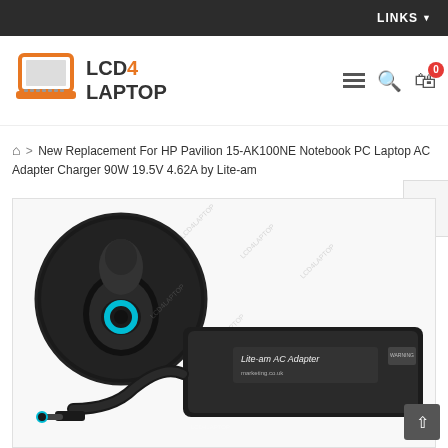LINKS
[Figure (logo): LCD4LAPTOP logo with orange laptop icon and text LCD4LAPTOP]
New Replacement For HP Pavilion 15-AK100NE Notebook PC Laptop AC Adapter Charger 90W 19.5V 4.62A by Lite-am
[Figure (photo): Product photo of HP Pavilion AC adapter charger 90W 19.5V 4.62A by Lite-am, showing connector tip close-up with blue ring in circular inset, and the full charger unit with cable labeled 'Lite-am AC Adapter', watermarked with LCD4LAPTOP branding]